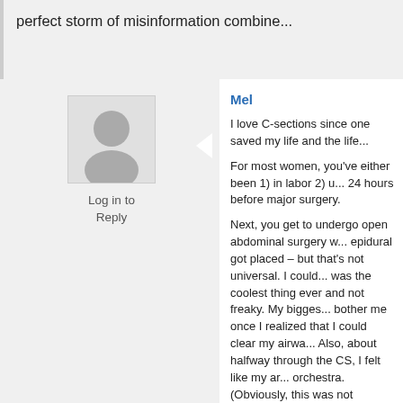perfect storm of misinformation combine...
[Figure (illustration): Generic user avatar icon (silhouette of a person) in a gray square]
Log in to Reply
Mel
I love C-sections since one saved my life and the life...
For most women, you've either been 1) in labor 2) u... 24 hours before major surgery.
Next, you get to undergo open abdominal surgery w... epidural got placed – but that's not universal. I could... was the coolest thing ever and not freaky. My bigges... bother me once I realized that I could clear my airwa... Also, about halfway through the CS, I felt like my ar... orchestra. (Obviously, this was not happening.)
This was followed by people doing various importan... like finishing the surgery, helping me pump in recove... monitoring my BP. Those were genuinely important t... and people kept getting in the way.
Then the itching started.
I needed oxygen and my entire body itched – includ...